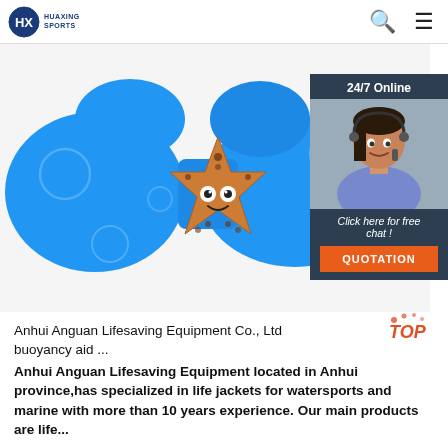HUAXING SPORTS
[Figure (photo): Blue children's swim float/buoyancy aid with starfish cartoon character design, with a customer service chat widget overlay showing '24/7 Online', a woman with headset, 'Click here for free chat!' text, and an orange QUOTATION button]
Anhui Anguan Lifesaving Equipment Co., Ltd buoyancy aid ...
Anhui Anguan Lifesaving Equipment located in Anhui province,has specialized in life jackets for watersports and marine with more than 10 years experience. Our main products are life...